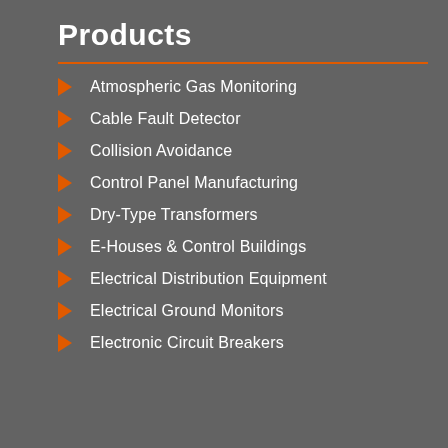Products
Atmospheric Gas Monitoring
Cable Fault Detector
Collision Avoidance
Control Panel Manufacturing
Dry-Type Transformers
E-Houses & Control Buildings
Electrical Distribution Equipment
Electrical Ground Monitors
Electronic Circuit Breakers